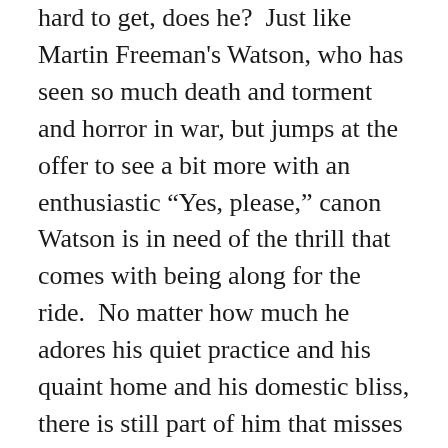hard to get, does he?  Just like Martin Freeman's Watson, who has seen so much death and torment and horror in war, but jumps at the offer to see a bit more with an enthusiastic “Yes, please,” canon Watson is in need of the thrill that comes with being along for the ride.  No matter how much he adores his quiet practice and his quaint home and his domestic bliss, there is still part of him that misses running out into the night with Sherlock Holmes, seeking curious adventure.  Watson obviously needs Holmes, too.  And that’s the answer to the question posed earlier.  No, they aren’t co-dependent